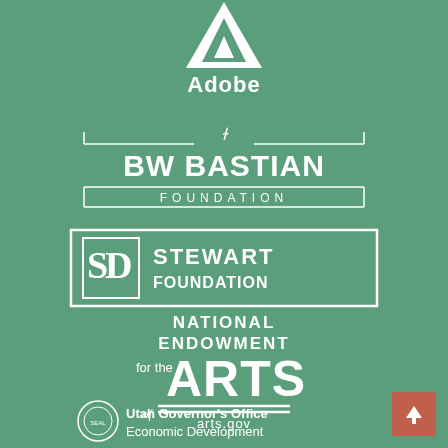[Figure (logo): Adobe logo — white stylized 'A' triangle icon above the word 'Adobe' in white bold text]
[Figure (logo): BW Bastian Foundation logo — white text with decorative bracket lines and a script flourish, reading 'BW BASTIAN FOUNDATION']
[Figure (logo): Stewart Foundation logo — white rectangle border with 'SD' lettermark and 'STEWART FOUNDATION' text]
[Figure (logo): National Endowment for the Arts logo — white text reading 'NATIONAL ENDOWMENT for the ARTS arts.gov' with double underline]
[Figure (logo): Utah Governor's Office of Economic Development logo — circular seal and text in white]
[Figure (illustration): Terracotta/salmon colored back-to-top button with upward arrow in bottom right corner]